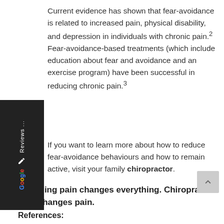Current evidence has shown that fear-avoidance is related to increased pain, physical disability, and depression in individuals with chronic pain.2 Fear-avoidance-based treatments (which include education about fear and avoidance and an exercise program) have been successful in reducing chronic pain.3
If you want to learn more about how to reduce fear-avoidance behaviours and how to remain active, visit your family chiropractor.
Changing pain changes everything. Chiropractic care changes pain.
References: